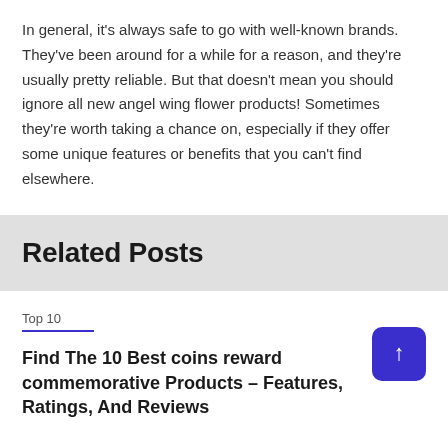In general, it's always safe to go with well-known brands. They've been around for a while for a reason, and they're usually pretty reliable. But that doesn't mean you should ignore all new angel wing flower products! Sometimes they're worth taking a chance on, especially if they offer some unique features or benefits that you can't find elsewhere.
Related Posts
Top 10
Find The 10 Best coins reward commemorative Products – Features, Ratings, And Reviews